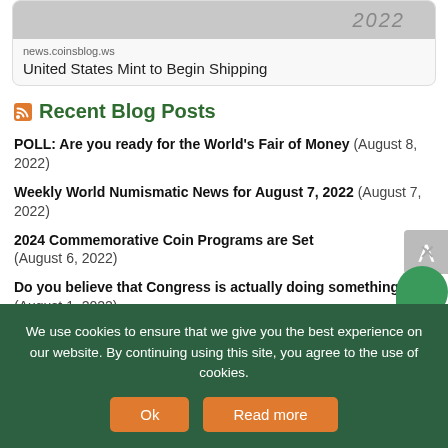[Figure (photo): Partial top image of coins/mint with year 2022 visible]
news.coinsblog.ws
United States Mint to Begin Shipping
Recent Blog Posts
POLL: Are you ready for the World's Fair of Money (August 8, 2022)
Weekly World Numismatic News for August 7, 2022 (August 7, 2022)
2024 Commemorative Coin Programs are Set (August 6, 2022)
Do you believe that Congress is actually doing something! (August 1, 2022)
Weekly World Numismatic News for July 31, 2022
We use cookies to ensure that we give you the best experience on our website. By continuing using this site, you agree to the use of cookies.